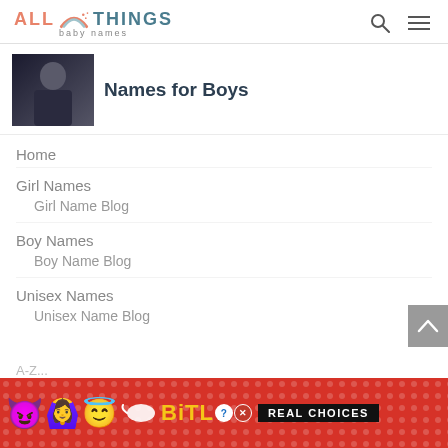ALL THINGS baby names
[Figure (photo): Thumbnail photo of a young boy in a dark jacket]
Names for Boys
Home
Girl Names
Girl Name Blog
Boy Names
Boy Name Blog
Unisex Names
Unisex Name Blog
[Figure (screenshot): BitLife advertisement banner with emojis and REAL CHOICES tagline on red background]